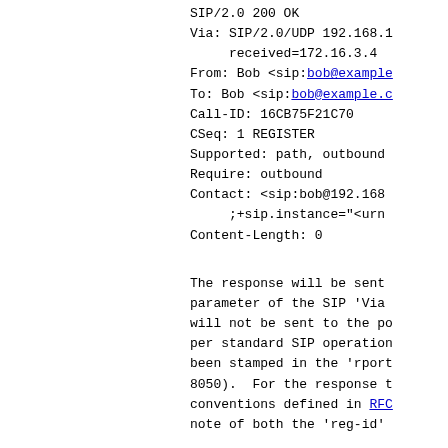SIP/2.0 200 OK
Via: SIP/2.0/UDP 192.168.1...
     received=172.16.3.4...
From: Bob <sip:bob@example...
To: Bob <sip:bob@example.c...
Call-ID: 16CB75F21C70
CSeq: 1 REGISTER
Supported: path, outbound...
Require: outbound
Contact: <sip:bob@192.168...
     ;+sip.instance="<urn...
Content-Length: 0
The response will be sent...
parameter of the SIP 'Via...
will not be sent to the po...
per standard SIP operation...
been stamped in the 'rport...
8050). For the response t...
conventions defined in RFC...
note of both the 'reg-id'...